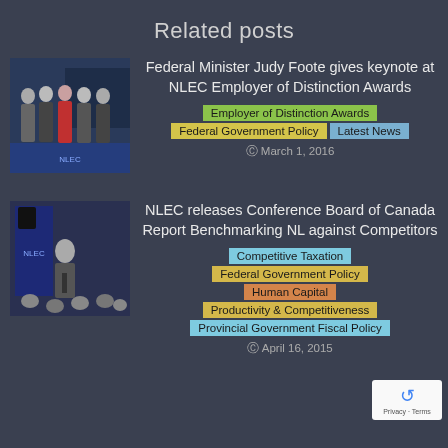Related posts
[Figure (photo): Group photo of five people standing together at an event, formal attire, one woman in red dress]
Federal Minister Judy Foote gives keynote at NLEC Employer of Distinction Awards
Employer of Distinction Awards
Federal Government Policy
Latest News
March 1, 2016
[Figure (photo): Audience and speaker at a conference or meeting event]
NLEC releases Conference Board of Canada Report Benchmarking NL against Competitors
Competitive Taxation
Federal Government Policy
Human Capital
Productivity & Competitiveness
Provincial Government Fiscal Policy
April 16, 2015